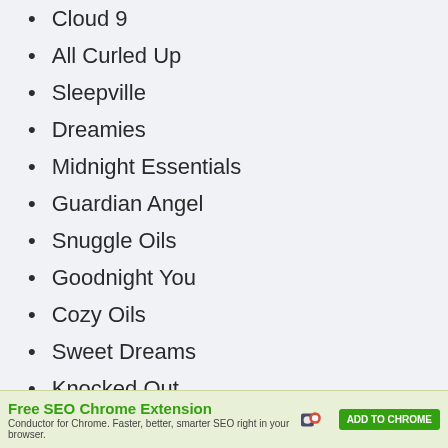Cloud 9
All Curled Up
Sleepville
Dreamies
Midnight Essentials
Guardian Angel
Snuggle Oils
Goodnight You
Cozy Oils
Sweet Dreams
Knocked Out
Sleep Time
Zen Lounge
[Figure (screenshot): Advertisement banner: Free SEO Chrome Extension by Conductor for Chrome. Faster, better, smarter SEO right in your browser. ADD TO CHROME button.]